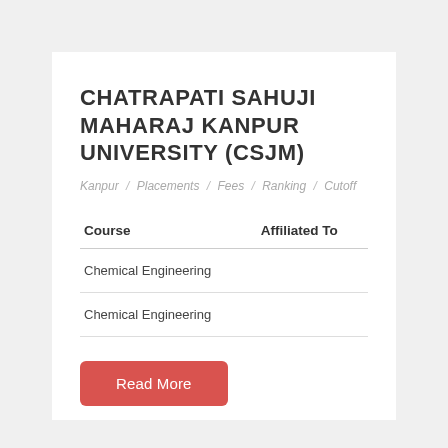CHATRAPATI SAHUJI MAHARAJ KANPUR UNIVERSITY (CSJM)
Kanpur / Placements / Fees / Ranking / Cutoff
| Course | Affiliated To |
| --- | --- |
| Chemical Engineering |  |
| Chemical Engineering |  |
Read More